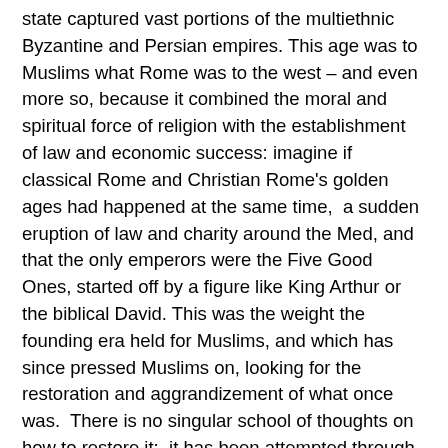state captured vast portions of the multiethnic Byzantine and Persian empires. This age was to Muslims what Rome was to the west – and even more so, because it combined the moral and spiritual force of religion with the establishment of law and economic success: imagine if classical Rome and Christian Rome's golden ages had happened at the same time,  a sudden eruption of law and charity around the Med, and that the only emperors were the Five Good Ones, started off by a figure like King Arthur or the biblical David. This was the weight the founding era held for Muslims, and which has since pressed Muslims on, looking for the restoration and aggrandizement of what once was.  There is no singular school of thoughts on how to restore it;  it has been attempted through feats of arms, like the Turks; through religious martialism, like the Taliban, or through politics, led by both strongmen and